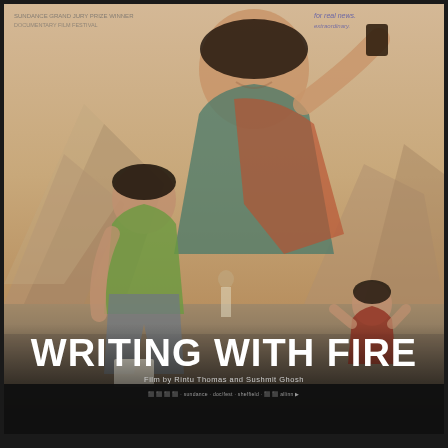[Figure (photo): Movie poster for 'Writing with Fire'. Features composite photographic image of Indian women journalists. Dominant figure at top center is a smiling woman in colorful sari holding a smartphone aloft. At left-center, another woman in green top crouches on the ground with paper. At bottom right, a third woman kneels with hands raised. Background shows mountainous landscape in warm sandy tones. Bottom portion has dark gradient overlay with large white bold title text 'WRITING WITH FIRE', a directorial credit line, and a row of small production logos/icons.]